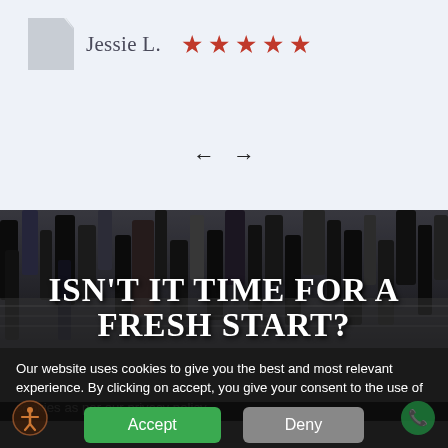Jessie L. ★★★★★
[Figure (screenshot): Navigation arrows (left and right) for a testimonial carousel]
[Figure (photo): Background photo of crowd walking (legs visible), with large serif text overlay reading ISN'T IT TIME FOR A FRESH START?]
ISN'T IT TIME FOR A FRESH START?
Our website uses cookies to give you the best and most relevant experience. By clicking on accept, you give your consent to the use of cookies as per our privacy policy.
Accept
Deny